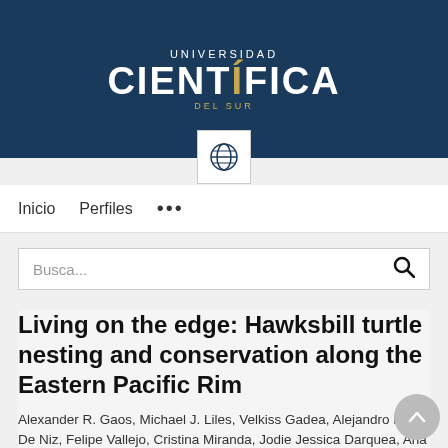[Figure (logo): Universidad Científica del Sur logo — white text on dark navy blue background with golden accent on accent mark and DEL SUR text]
Inicio   Perfiles   ...
Busca...
Living on the edge: Hawksbill turtle nesting and conservation along the Eastern Pacific Rim
Alexander R. Gaos, Michael J. Liles, Velkiss Gadea, Alejandro Peña De Niz, Felipe Vallejo, Cristina Miranda, Jodie Jessica Darquea, Ana Henriquez, Eduardo Altamirano, Alejandra